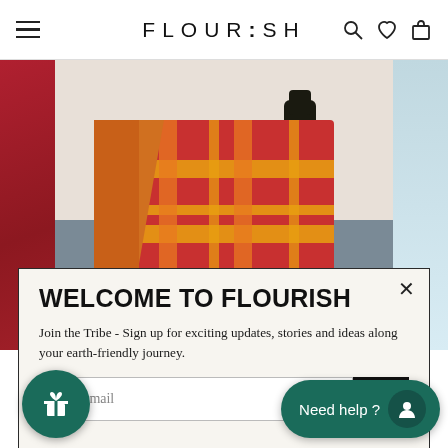FLOURISH — navigation bar with hamburger menu, logo, search, wishlist, cart icons
[Figure (photo): Product image carousel showing plaid/tartan blanket in red, orange and yellow with fringe, displayed on a grey carpet floor with a dark bottle in background. Left edge shows red fabric, right edge shows light blue fabric.]
WELCOME TO FLOURISH
Join the Tribe - Sign up for exciting updates, stories and ideas along your earth-friendly journey.
your email